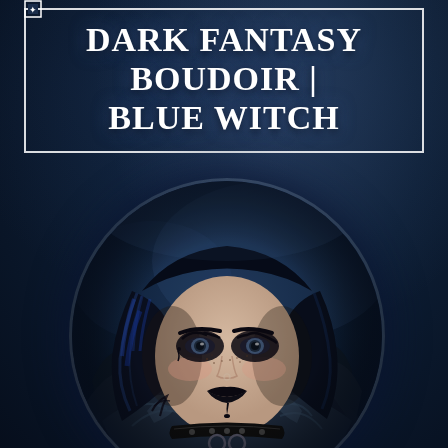DARK FANTASY BOUDOIR | BLUE WITCH
[Figure (photo): Circular cropped portrait photograph of a gothic woman with blue-black hair, pale skin with freckles, heavy dark eye makeup, black lipstick with a drip effect, facial tattoos, wearing a leather collar with chain. Surrounded by dark feathery/furry elements. Dark moody blue atmospheric background.]